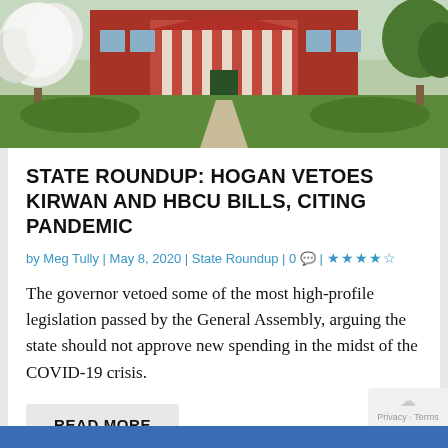[Figure (photo): Exterior photo of a brick university or government building with columns, green lawn, and flowering trees in foreground]
STATE ROUNDUP: HOGAN VETOES KIRWAN AND HBCU BILLS, CITING PANDEMIC
by Meg Tully | May 8, 2020 | State Roundup | 0 | ★★★★★
The governor vetoed some of the most high-profile legislation passed by the General Assembly, arguing the state should not approve new spending in the midst of the COVID-19 crisis.
READ MORE